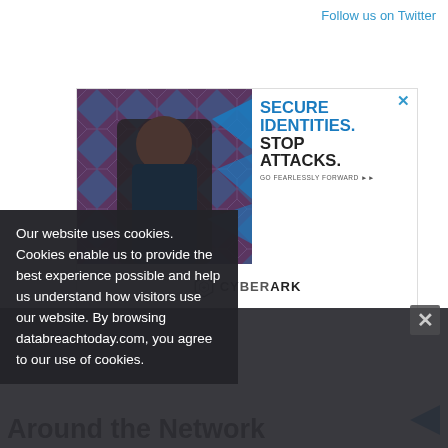Follow us on Twitter
[Figure (advertisement): CyberArk ad banner: man at laptop with geometric pattern background. Text: SECURE IDENTITIES. STOP ATTACKS. GO FEARLESSLY FORWARD. CyberArk logo bottom right. Close X top right.]
Our website uses cookies. Cookies enable us to provide the best experience possible and help us understand how visitors use our website. By browsing databreachtoday.com, you agree to our use of cookies.
Around the Network